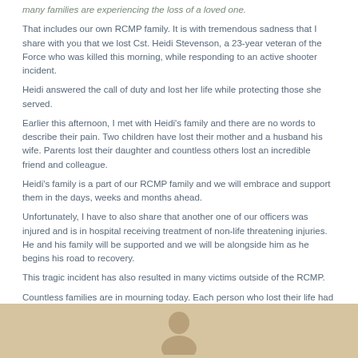many families are experiencing the loss of a loved one.
That includes our own RCMP family. It is with tremendous sadness that I share with you that we lost Cst. Heidi Stevenson, a 23-year veteran of the Force who was killed this morning, while responding to an active shooter incident.
Heidi answered the call of duty and lost her life while protecting those she served.
Earlier this afternoon, I met with Heidi's family and there are no words to describe their pain. Two children have lost their mother and a husband his wife. Parents lost their daughter and countless others lost an incredible friend and colleague.
Heidi's family is a part of our RCMP family and we will embrace and support them in the days, weeks and months ahead.
Unfortunately, I have to also share that another one of our officers was injured and is in hospital receiving treatment of non-life threatening injuries. He and his family will be supported and we will be alongside him as he begins his road to recovery.
This tragic incident has also resulted in many victims outside of the RCMP.
Countless families are in mourning today. Each person who lost their life had family and friends and they too will need support.
The impact of this incident will extend from one end of this province to the other. As Nova Scotians, we have to do what we are known for. And come together in times of need and support one another.
[Figure (photo): Beige/tan background section at bottom of page with a partial silhouette or figure visible]